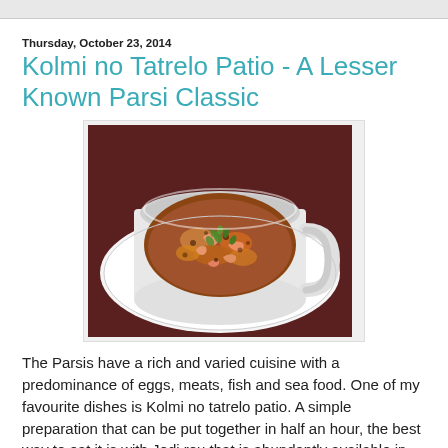Thursday, October 23, 2014
Kolmi no Tatrelo Patio - A Lesser Known Parsi Classic
[Figure (photo): A white ceramic bowl/mug containing Kolmi no Tatrelo Patio - a shrimp dish garnished with fresh cilantro, served on a white plate]
The Parsis have a rich and varied cuisine with a predominance of eggs, meats, fish and sea food. One of my favourite dishes is Kolmi no tatrelo patio. A simple preparation that can be put together in half an hour, the best way to eat it is with Jodi rou that is abundantly available in